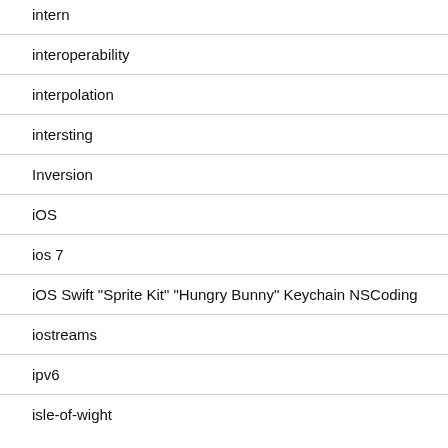intern
interoperability
interpolation
intersting
Inversion
iOS
ios 7
iOS Swift "Sprite Kit" "Hungry Bunny" Keychain NSCoding
iostreams
ipv6
isle-of-wight